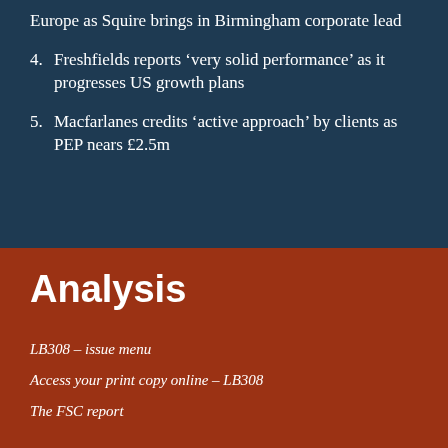Europe as Squire brings in Birmingham corporate lead
4.  Freshfields reports ‘very solid performance’ as it progresses US growth plans
5.  Macfarlanes credits ‘active approach’ by clients as PEP nears £2.5m
Analysis
LB308 – issue menu
Access your print copy online – LB308
The FSC report